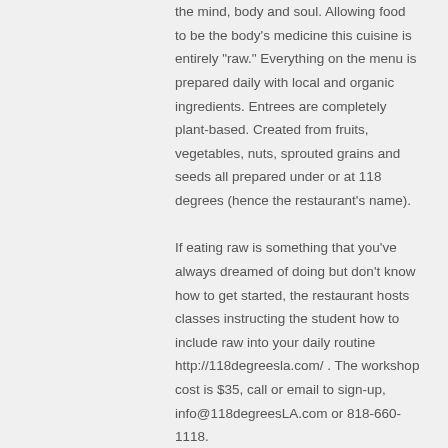the mind, body and soul. Allowing food to be the body's medicine this cuisine is entirely "raw." Everything on the menu is prepared daily with local and organic ingredients. Entrees are completely plant-based. Created from fruits, vegetables, nuts, sprouted grains and seeds all prepared under or at 118 degrees (hence the restaurant's name). If eating raw is something that you've always dreamed of doing but don't know how to get started, the restaurant hosts classes instructing the student how to include raw into your daily routine http://118degreesla.com/ . The workshop cost is $35, call or email to sign-up, info@118degreesLA.com or 818-660-1118. In addition to classes, meal plans are also